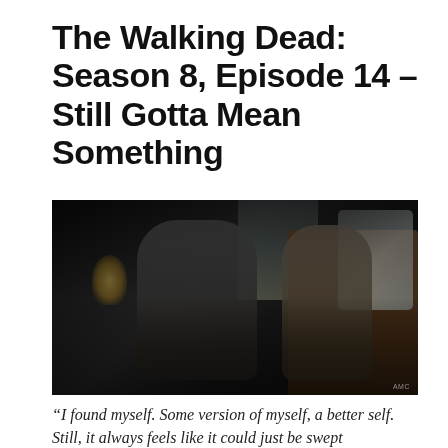The Walking Dead: Season 8, Episode 14 – Still Gotta Mean Something
[Figure (photo): Dark scene from The Walking Dead showing two characters holding hands in a dimly lit room with a dresser and mirror visible in the background.]
“I found myself. Some version of myself, a better self. Still, it always feels like it could just be swept...